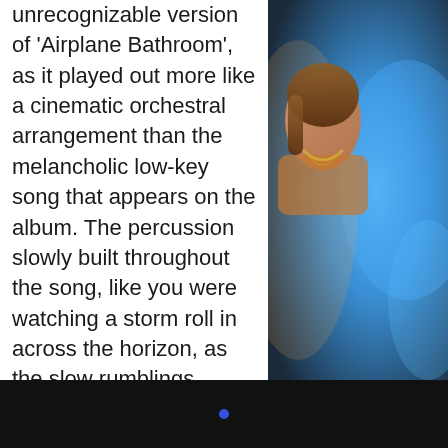unrecognizable version of 'Airplane Bathroom', as it played out more like a cinematic orchestral arrangement than the melancholic low-key song that appears on the album. The percussion slowly built throughout the song, like you were watching a storm roll in across the horizon, as the slow rumblings turned into a roaring, bombastic finale.
As the last of the cymbals stopped ringing, Gordi transitioned into a more traditional performance of 'Volcanic', though with a more energetic rendition of the piano outro that features on the album.
[Figure (photo): Partial photo of a performer on stage with bright blue and warm lighting visible on the right side of the page]
[Figure (screenshot): Black video player bar at the bottom of the page with a small blue dot indicator]